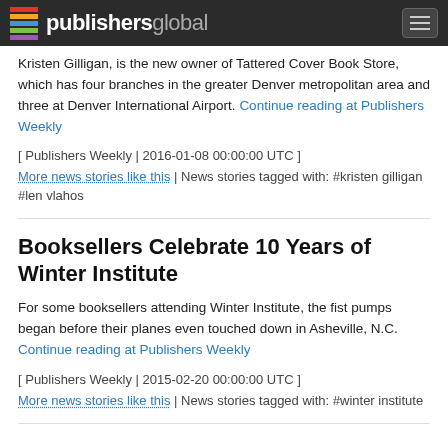publishersglobal
Kristen Gilligan, is the new owner of Tattered Cover Book Store, which has four branches in the greater Denver metropolitan area and three at Denver International Airport. Continue reading at Publishers Weekly
[ Publishers Weekly | 2016-01-08 00:00:00 UTC ]
More news stories like this | News stories tagged with: #kristen gilligan #len vlahos
Booksellers Celebrate 10 Years of Winter Institute
For some booksellers attending Winter Institute, the fist pumps began before their planes even touched down in Asheville, N.C. Continue reading at Publishers Weekly
[ Publishers Weekly | 2015-02-20 00:00:00 UTC ]
More news stories like this | News stories tagged with: #winter institute